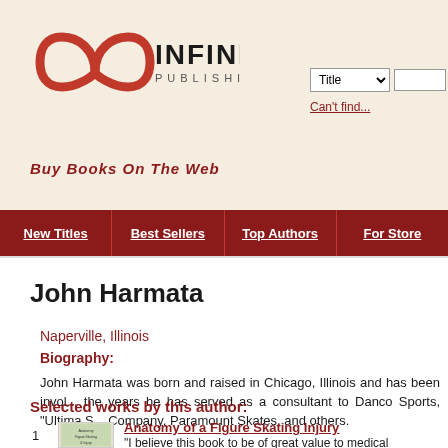[Figure (logo): Infinity Publishing logo with infinity symbol and 'Buy Books On The Web' tagline]
Title [dropdown] | Can't find...
New Titles | Best Sellers | Top Authors | For Store
John Harmata
Naperville, Illinois
Biography:
John Harmata was born and raised in Chicago, Illinois and has been invo... the years he has served as a consultant to Danco Sports, "Ultima S... Company, Paramount Skates, and others.
Applying his X-ray training to his business practices, John quickly recogniz... and sharpening. As a result, John noticed a dramatic decline in common s...
In 2002 John began writing his “Ask Mr. Edge” column which is featured in...
Selected works by this author:
[Figure (illustration): Book cover thumbnail for Anatomy of a Figure Skating Injury]
Anatomy of a Figure Skating Injury
“I believe this book to be of great value to medical professionals wh...